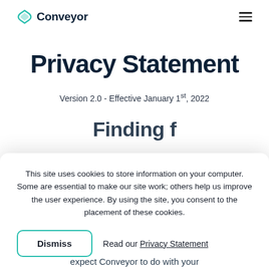Conveyor
Privacy Statement
Version 2.0 - Effective January 1st, 2022
Finding f…
This site uses cookies to store information on your computer. Some are essential to make our site work; others help us improve the user experience. By using the site, you consent to the placement of these cookies.
Dismiss   Read our Privacy Statement
expect Conveyor to do with your